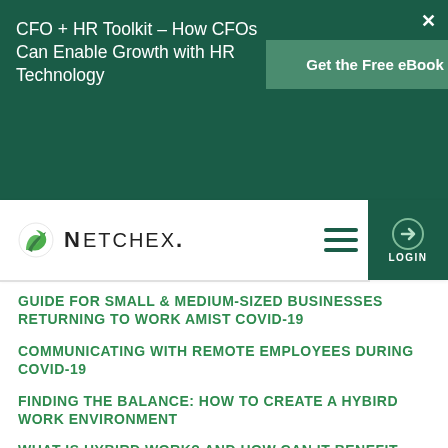[Figure (screenshot): Banner ad with dark green background. Left: title text 'CFO + HR Toolkit - How CFOs Can Enable Growth with HR Technology' in white. Center-right: green button 'Get the Free eBook'. Top right: X close button.]
[Figure (logo): Netchex logo with green N icon and NETCHEX. wordmark]
GUIDE FOR SMALL & MEDIUM-SIZED BUSINESSES RETURNING TO WORK AMIST COVID-19
COMMUNICATING WITH REMOTE EMPLOYEES DURING COVID-19
FINDING THE BALANCE: HOW TO CREATE A HYBIRD WORK ENVIRONMENT
WHAT IS HYBIRD WORK? AND HOW CAN IT BENEFIT YOUR COMPANY?